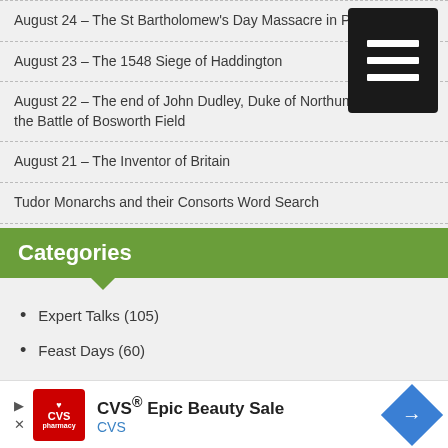August 24 – The St Bartholomew's Day Massacre in Par…
August 23 – The 1548 Siege of Haddington
August 22 – The end of John Dudley, Duke of Northumberland, and the Battle of Bosworth Field
August 21 – The Inventor of Britain
Tudor Monarchs and their Consorts Word Search
Categories
Expert Talks (105)
Feast Days (60)
Friday Videos (371)
Guest Articles (24)
Magazines (94)
News (389)
[Figure (other): CVS Epic Beauty Sale advertisement banner]